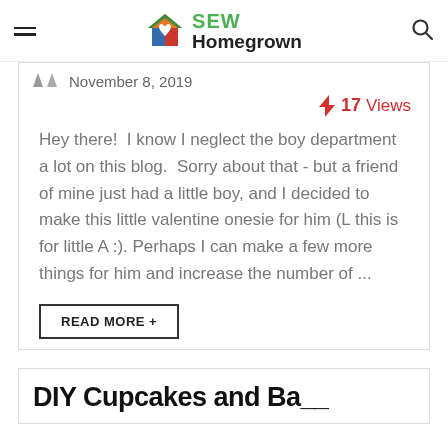SEW Homegrown
November 8, 2019
17 Views
Hey there!  I know I neglect the boy department a lot on this blog.  Sorry about that - but a friend of mine just had a little boy, and I decided to make this little valentine onesie for him (L this is for little A :). Perhaps I can make a few more things for him and increase the number of ...
READ MORE +
DIY Cupcakes and Ba...